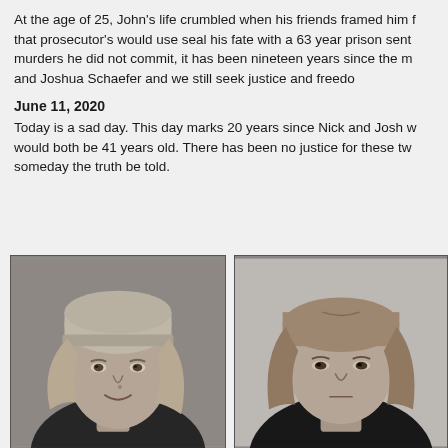At the age of 25, John's life crumbled when his friends framed him for murders he did not commit, it has been nineteen years since the murders of Nick and Joshua Schaefer and we still seek justice and freedom.
June 11, 2020
Today is a sad day. This day marks 20 years since Nick and Josh would both be 41 years old. There has been no justice for these two. May someday the truth be told.
[Figure (photo): Black and white photograph of a young person wearing a knit hat with long hair, smiling slightly]
[Figure (photo): Black and white photograph of a young person with medium length hair, neutral expression, appears to be a formal or ID-style photo]